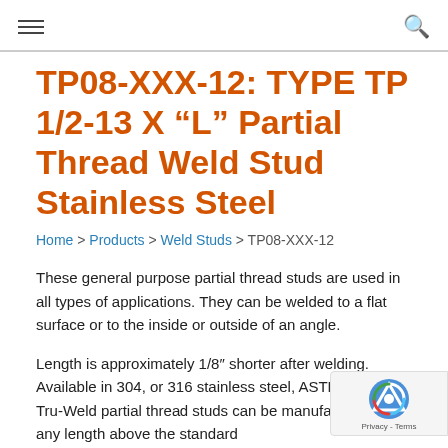Navigation header with hamburger menu and search icon
TP08-XXX-12: TYPE TP 1/2-13 X “L” Partial Thread Weld Stud Stainless Steel
Home > Products > Weld Studs > TP08-XXX-12
These general purpose partial thread studs are used in all types of applications. They can be welded to a flat surface or to the inside or outside of an angle.
Length is approximately 1/8″ shorter after welding. Available in 304, or 316 stainless steel, ASTM a493. Tru-Weld partial thread studs can be manufactured in any length above the standard